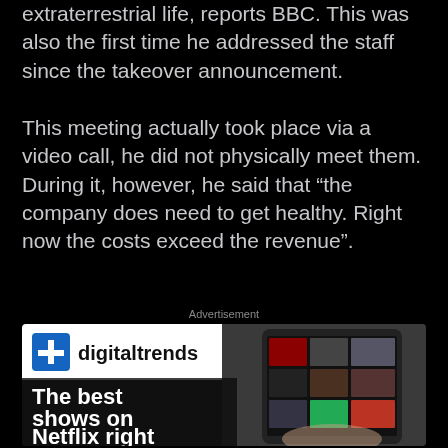extraterrestrial life, reports BBC. This was also the first time he addressed the staff since the takeover announcement.
This meeting actually took place via a video call, he did not physically meet them. During it, however, he said that "the company does need to get healthy. Right now the costs exceed the revenue".
Advertisement
[Figure (other): Advertisement banner for Digital Trends showing a hand holding a tablet with Netflix interface. Text reads 'The best shows on Netflix right'. Logo shows blue icon with plus sign and 'digitaltrends' text.]